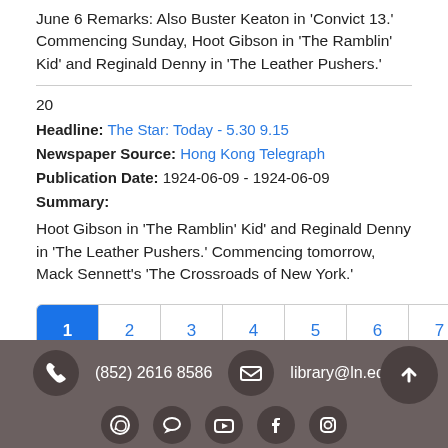June 6 Remarks: Also Buster Keaton in 'Convict 13.' Commencing Sunday, Hoot Gibson in 'The Ramblin' Kid' and Reginald Denny in 'The Leather Pushers.'
20
Headline: The Star: Today - 5.30 9.15
Newspaper Source: Hong Kong Telegraph
Publication Date: 1924-06-09 - 1924-06-09
Summary:
Hoot Gibson in 'The Ramblin' Kid' and Reginald Denny in 'The Leather Pushers.' Commencing tomorrow, Mack Sennett's 'The Crossroads of New York.'
(852) 2616 8586  library@ln.edu.hk